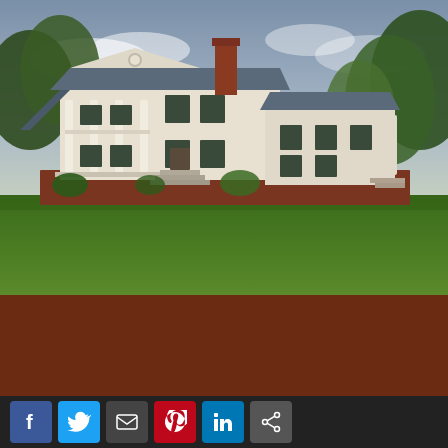[Figure (photo): Exterior photo of a large white antebellum-style plantation house with columned porches on both floors, black shutters, brick foundation and chimney, surrounded by green lawn and trees under a partly cloudy sky.]
« Bridal Show
Meet the Bunnies of Belle Grove »
The Calm After the Storm
Jun. 3rd 2013